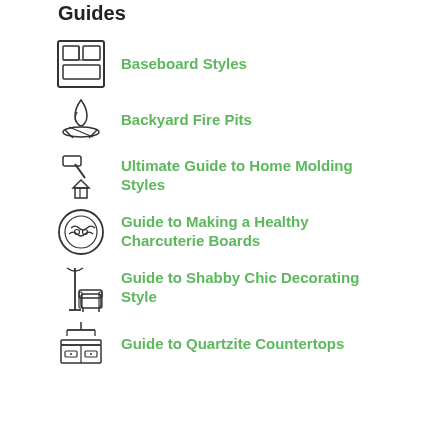Guides
Baseboard Styles
Backyard Fire Pits
Ultimate Guide to Home Molding Styles
Guide to Making a Healthy Charcuterie Boards
Guide to Shabby Chic Decorating Style
Guide to Quartzite Countertops